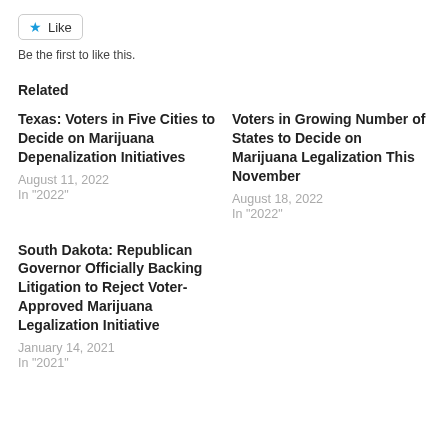[Figure (other): Like button with star icon]
Be the first to like this.
Related
Texas: Voters in Five Cities to Decide on Marijuana Depenalization Initiatives
August 11, 2022
In "2022"
Voters in Growing Number of States to Decide on Marijuana Legalization This November
August 18, 2022
In "2022"
South Dakota: Republican Governor Officially Backing Litigation to Reject Voter-Approved Marijuana Legalization Initiative
January 14, 2021
In "2021"